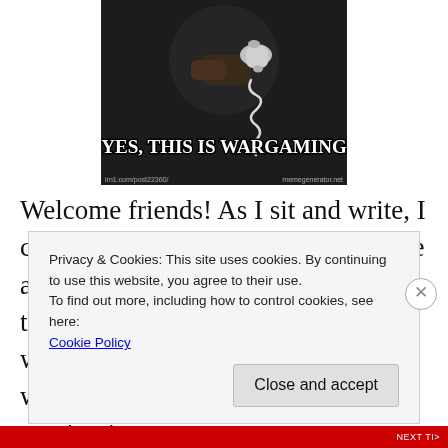[Figure (photo): Meme image showing a dark scene with a person holding a phone receiver with a curly cord, with bold white Impact text overlay reading 'YES, THIS IS WARGAMING' and watermarks at the bottom]
Welcome friends! As I sit and write, I can't quite get my head round that we are already two thirds the way through January! The last several weeks have been somewhat of a whirlwind with the holidays, family coming in
Privacy & Cookies: This site uses cookies. By continuing to use this website, you agree to their use.
To find out more, including how to control cookies, see here:
Cookie Policy
Close and accept